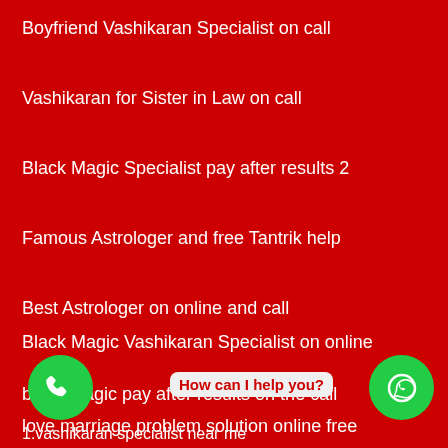Boyfriend Vashikaran Specialist on call
Vashikaran for Sister in Law on call
Black Magic Specialist pay after results 2
Famous Astrologer and free Tantrik help
Best Astrologer on online and call
Black Magic Vashikaran Specialist on online
black magic pay after results on the call
love marriage problem solution online free
1.vashikaran specialist near me
How can I help you?